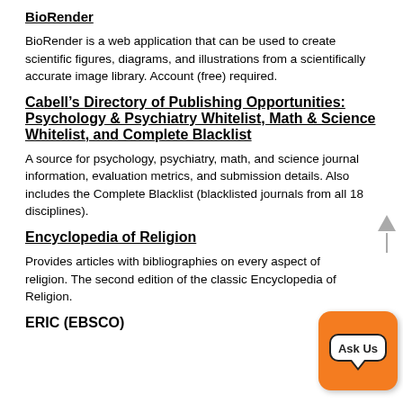BioRender
BioRender is a web application that can be used to create scientific figures, diagrams, and illustrations from a scientifically accurate image library. Account (free) required.
Cabell’s Directory of Publishing Opportunities: Psychology & Psychiatry Whitelist, Math & Science Whitelist, and Complete Blacklist
A source for psychology, psychiatry, math, and science journal information, evaluation metrics, and submission details. Also includes the Complete Blacklist (blacklisted journals from all 18 disciplines).
Encyclopedia of Religion
Provides articles with bibliographies on every aspect of religion. The second edition of the classic Encyclopedia of Religion.
ERIC (EBSCO)